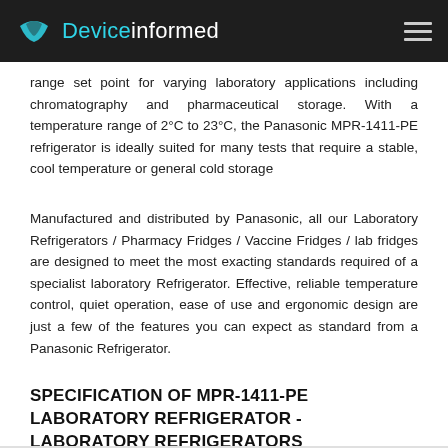Deviceinformed
range set point for varying laboratory applications including chromatography and pharmaceutical storage. With a temperature range of 2°C to 23°C, the Panasonic MPR-1411-PE refrigerator is ideally suited for many tests that require a stable, cool temperature or general cold storage
Manufactured and distributed by Panasonic, all our Laboratory Refrigerators / Pharmacy Fridges / Vaccine Fridges / lab fridges are designed to meet the most exacting standards required of a specialist laboratory Refrigerator. Effective, reliable temperature control, quiet operation, ease of use and ergonomic design are just a few of the features you can expect as standard from a Panasonic Refrigerator.
SPECIFICATION OF MPR-1411-PE LABORATORY REFRIGERATOR - LABORATORY REFRIGERATORS